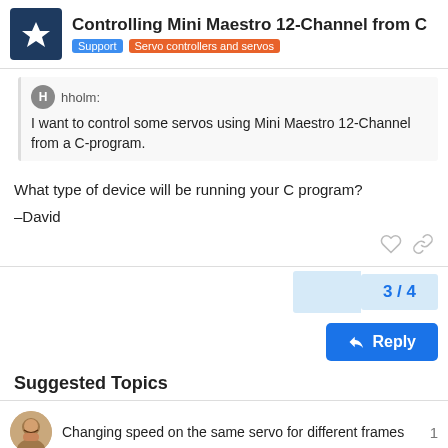Controlling Mini Maestro 12-Channel from C | Support | Servo controllers and servos
hholm:
I want to control some servos using Mini Maestro 12-Channel from a C-program.
What type of device will be running your C program?
–David
3 / 4
Reply
Suggested Topics
Changing speed on the same servo for different frames